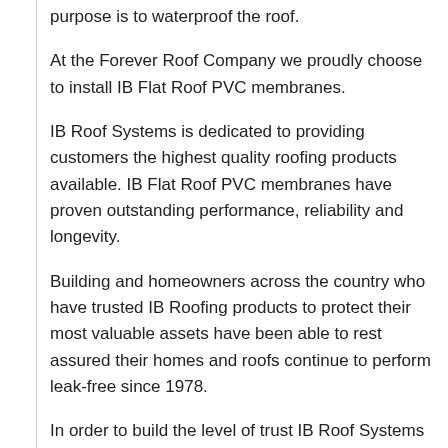purpose is to waterproof the roof.
At the Forever Roof Company we proudly choose to install IB Flat Roof PVC membranes.
IB Roof Systems is dedicated to providing customers the highest quality roofing products available. IB Flat Roof PVC membranes have proven outstanding performance, reliability and longevity.
Building and homeowners across the country who have trusted IB Roofing products to protect their most valuable assets have been able to rest assured their homes and roofs continue to perform leak-free since 1978.
In order to build the level of trust IB Roof Systems shares with its clients, IB has consistently replicated a superior product, the PVC membrane, in a facility that is ISO 9001 & ISO 14001 certified. The stringent production process ensures every piece of material